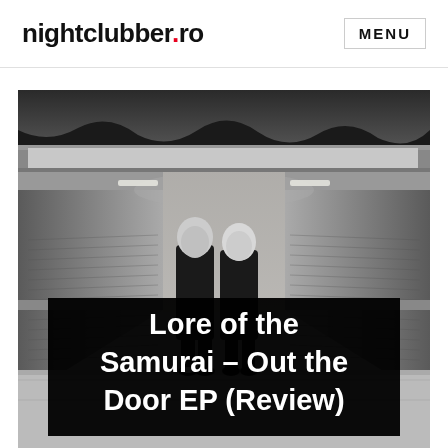nightclubber.ro  MENU
[Figure (photo): Black and white photo of two people standing in an urban underpass/tunnel with concrete walls and ceiling, taken from a low angle. Both figures are dressed in dark clothing.]
Lore of the Samurai – Out the Door EP (Review)